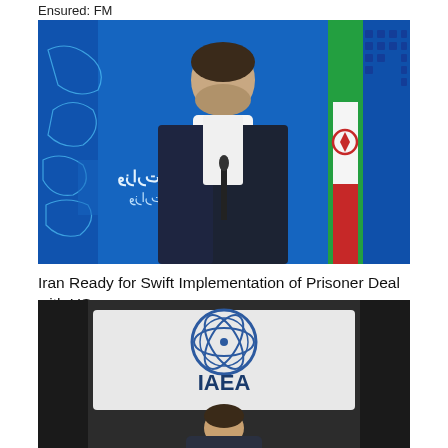Ensured: FM
[Figure (photo): Iranian Foreign Ministry spokesperson in a dark suit standing at a podium with a microphone, in front of a blue background with a map outline and Arabic text reading 'Ministry of Foreign Affairs', with an Iranian flag visible on the right.]
Iran Ready for Swift Implementation of Prisoner Deal with US
[Figure (photo): A person seated at a table in front of an IAEA (International Atomic Energy Agency) sign/banner with the IAEA logo visible.]